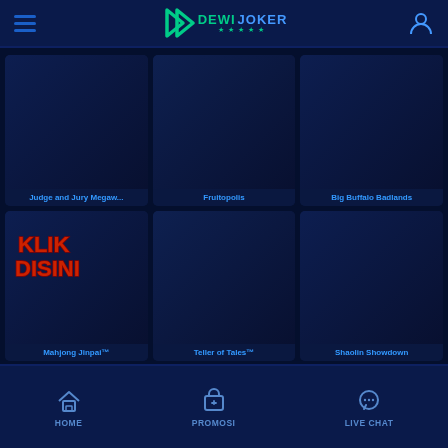[Figure (logo): DewiJoker logo with teal arrow/chevron icon and text DEWI in teal and JOKER in blue with 5 stars]
[Figure (screenshot): Game grid showing 6 game tiles: Judge and Jury Megaw..., Fruitopolis, Big Buffalo Badlands, Mahjong Jinpai (with Klik Disini button overlay), Teller of Tales, Shaolin Showdown]
Judge and Jury Megaw...
Fruitopolis
Big Buffalo Badlands
Mahjong Jinpai™
Teller of Tales™
Shaolin Showdown
HOME | PROMOSI | LIVE CHAT